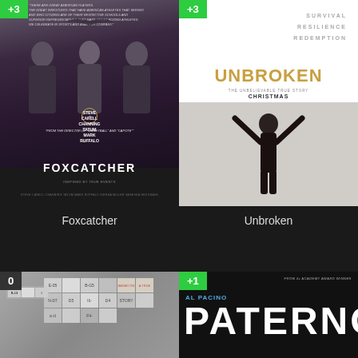[Figure (photo): Foxcatcher movie poster showing three men in wrestling gear with a large bird overhead, green +3 badge in top left corner]
Foxcatcher
[Figure (photo): Unbroken movie poster - top half white with text SURVIVAL, RESILIENCE, REDEMPTION and UNBROKEN title in gold, green +3 badge; bottom half shows silhouette of man with raised arms]
Unbroken
[Figure (photo): Partial movie poster with bingo-card like papers/documents background, black 0 badge]
[Figure (photo): Paterno movie poster showing Al Pacino text in blue, PATERNO title in white, green +1 badge]